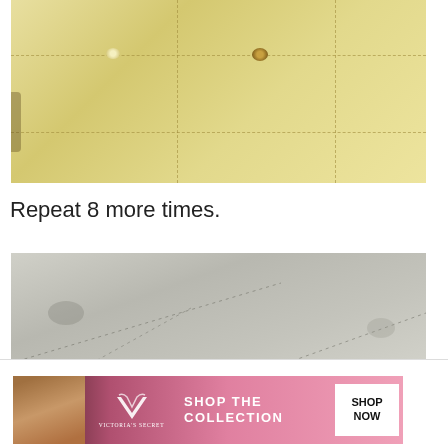[Figure (photo): Close-up photograph of cream/yellow tufted leather headboard with button tufting and dashed stitching seams]
Repeat 8 more times.
[Figure (photo): Close-up photograph of white/light gray leather upholstery surface showing dashed stitching seams and button impressions]
Advertisements
[Figure (other): Victoria's Secret advertisement banner: SHOP THE COLLECTION - SHOP NOW]